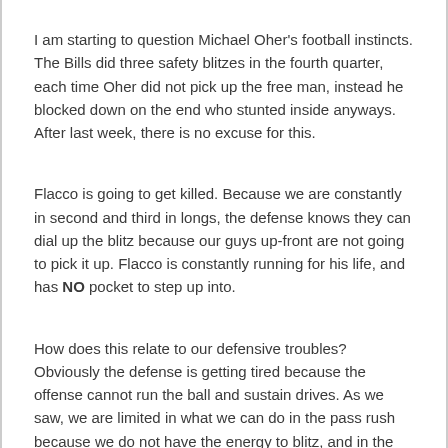I am starting to question Michael Oher's football instincts. The Bills did three safety blitzes in the fourth quarter, each time Oher did not pick up the free man, instead he blocked down on the end who stunted inside anyways. After last week, there is no excuse for this.
Flacco is going to get killed. Because we are constantly in second and third in longs, the defense knows they can dial up the blitz because our guys up-front are not going to pick it up. Flacco is constantly running for his life, and has NO pocket to step up into.
How does this relate to our defensive troubles? Obviously the defense is getting tired because the offense cannot run the ball and sustain drives. As we saw, we are limited in what we can do in the pass rush because we do not have the energy to blitz, and in the secondary we have to play a soft zone not to